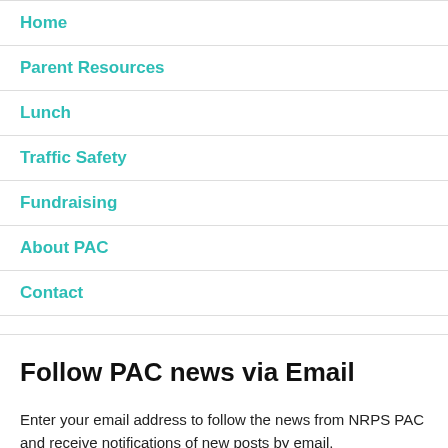Home
Parent Resources
Lunch
Traffic Safety
Fundraising
About PAC
Contact
Follow PAC news via Email
Enter your email address to follow the news from NRPS PAC and receive notifications of new posts by email.